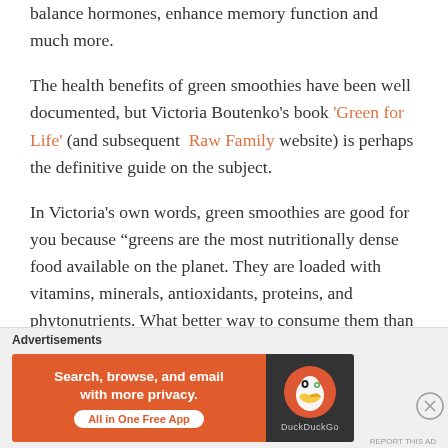balance hormones, enhance memory function and much more.
The health benefits of green smoothies have been well documented, but Victoria Boutenko's book 'Green for Life' (and subsequent Raw Family website) is perhaps the definitive guide on the subject.
In Victoria's own words, green smoothies are good for you because "greens are the most nutritionally dense food available on the planet. They are loaded with vitamins, minerals, antioxidants, proteins, and phytonutrients. What better way to consume them than in a delicious
[Figure (other): DuckDuckGo advertisement banner: orange background with text 'Search, browse, and email with more privacy. All in One Free App' and DuckDuckGo logo on dark background]